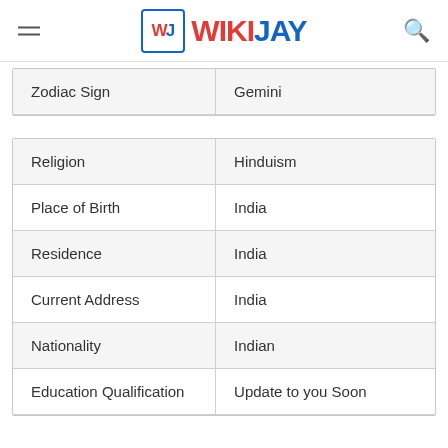WIKIJAY
|  |  |
| --- | --- |
| Zodiac Sign | Gemini |
|  |  |
| --- | --- |
| Religion | Hinduism |
| Place of Birth | India |
| Residence | India |
| Current Address | India |
| Nationality | Indian |
| Education Qualification | Update to you Soon |